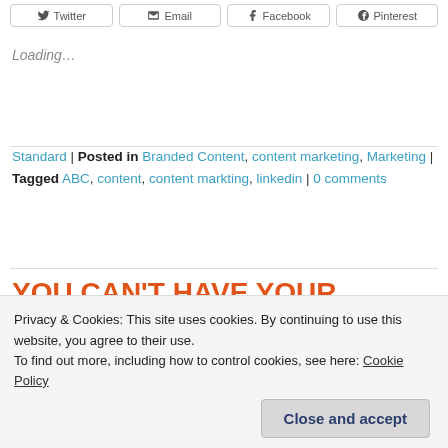[Figure (other): Social sharing buttons: Twitter, Email, Facebook, Pinterest]
Loading...
Standard | Posted in Branded Content, content marketing, Marketing | Tagged ABC, content, content markting, linkedin | 0 comments
YOU CAN'T HAVE YOUR PRIVACY AND EAT IT
Privacy & Cookies: This site uses cookies. By continuing to use this website, you agree to their use.
To find out more, including how to control cookies, see here: Cookie Policy
Close and accept